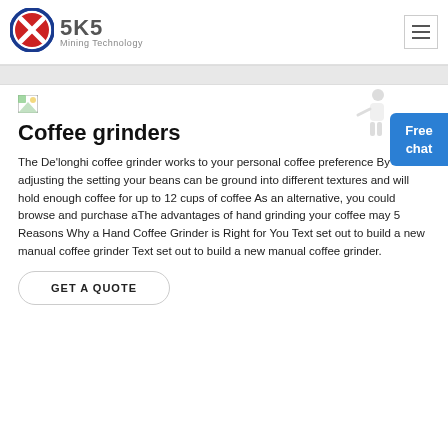SKS Mining Technology
[Figure (logo): SKS Mining Technology logo with circular red/blue emblem and text]
Coffee grinders
The De'longhi coffee grinder works to your personal coffee preference By adjusting the setting your beans can be ground into different textures and will hold enough coffee for up to 12 cups of coffee As an alternative, you could browse and purchase aThe advantages of hand grinding your coffee may 5 Reasons Why a Hand Coffee Grinder is Right for You Text set out to build a new manual coffee grinder Text set out to build a new manual coffee grinder.
GET A QUOTE